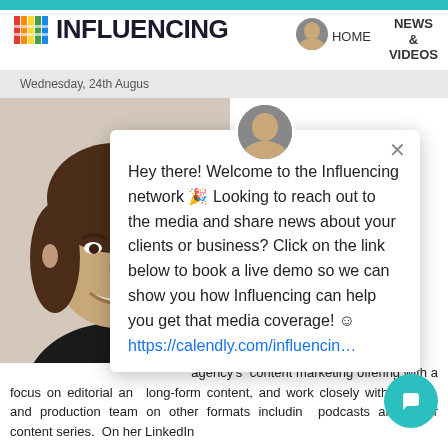[Figure (logo): Influencing network logo with colored bar icon and bold 'INFLUENCING' text]
HOME   NEWS & VIDEOS
Wednesday, 24th August
[Figure (photo): Headshot photo of a smiling woman with dark hair, wearing a black top]
Hey there! Welcome to the Influencing network 🎉 Looking to reach out to the media and share news about your clients or business? Click on the link below to book a live demo so we can show you how Influencing can help you get that media coverage! ☺ https://calendly.com/influencin…
agency's content marketing offering with a focus on editorial and long-form content, and work closely with the film and production team on other formats including podcasts and other content series. On her LinkedIn